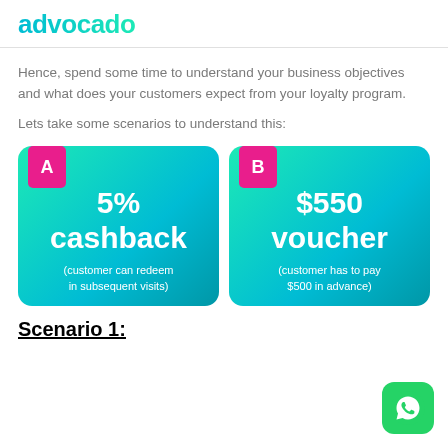advocado
Hence, spend some time to understand your business objectives and what does your customers expect from your loyalty program.
Lets take some scenarios to understand this:
[Figure (infographic): Two teal gradient cards side by side. Card A (pink badge 'A') shows '5% cashback (customer can redeem in subsequent visits)'. Card B (pink badge 'B') shows '$550 voucher (customer has to pay $500 in advance)'.]
Scenario 1: